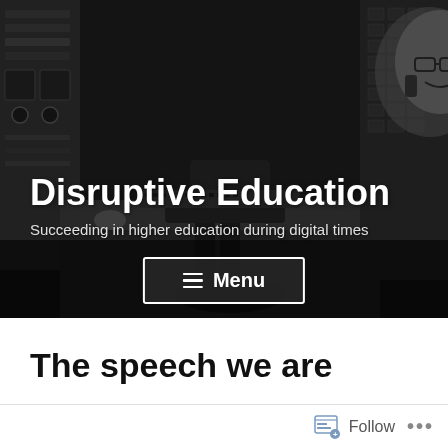[Figure (photo): Grayscale photo of a man in glasses smiling on a phone, seated at a vintage computer/control room with old machinery and keyboards. Black and white industrial/lab setting.]
Disruptive Education
Succeeding in higher education during digital times
☰ Menu
The speech we are
Follow
•••